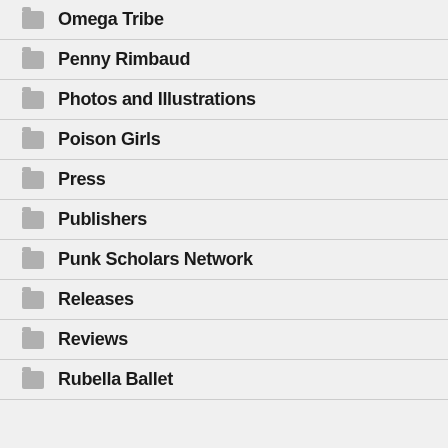Omega Tribe
Penny Rimbaud
Photos and Illustrations
Poison Girls
Press
Publishers
Punk Scholars Network
Releases
Reviews
Rubella Ballet